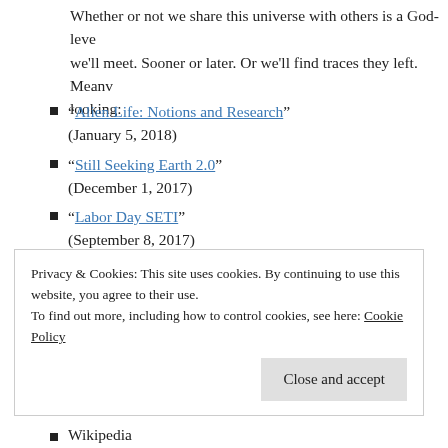Whether or not we share this universe with others is a God-leve we'll meet. Sooner or later. Or we'll find traces they left. Meanv looking:
“Alien Life: Notions and Research” (January 5, 2018)
“Still Seeking Earth 2.0” (December 1, 2017)
“Labor Day SETI” (September 8, 2017)
“Exoplanet Frontier” (June 30, 2017)
“Making a Universe: Why Bother?”
Privacy & Cookies: This site uses cookies. By continuing to use this website, you agree to their use. To find out more, including how to control cookies, see here: Cookie Policy
Wikipedia